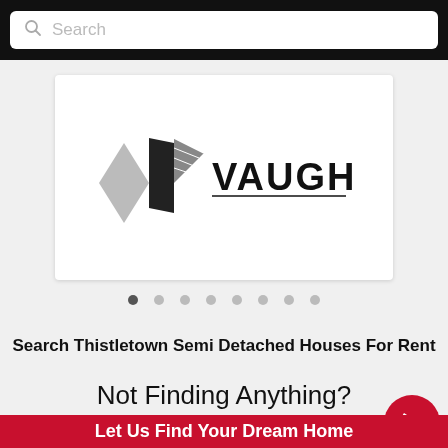Search
[Figure (logo): Vaughan real estate logo with stylized book/flag icon and the text VAUGHAN in bold serif font]
[Figure (other): Carousel dot indicators — 8 dots, first one filled/dark, rest light gray]
Search Thistletown Semi Detached Houses For Rent
Not Finding Anything?
Let Us Find Your Dream Home